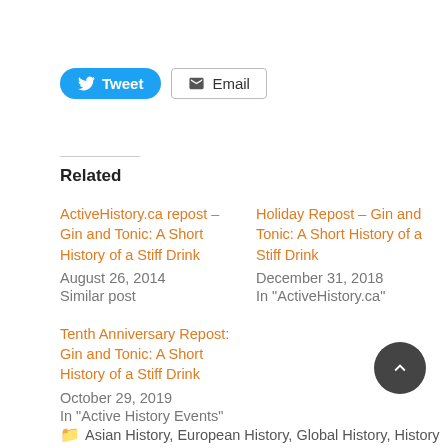[Figure (other): Social share buttons: Tweet (blue rounded button with Twitter bird icon) and Email (outlined button with envelope icon)]
Related
ActiveHistory.ca repost – Gin and Tonic: A Short History of a Stiff Drink
August 26, 2014
Similar post
Holiday Repost – Gin and Tonic: A Short History of a Stiff Drink
December 31, 2018
In "ActiveHistory.ca"
Tenth Anniversary Repost: Gin and Tonic: A Short History of a Stiff Drink
October 29, 2019
In "Active History Events"
Asian History, European History, Global History, History